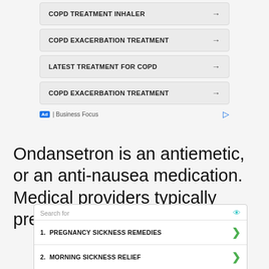COPD TREATMENT INHALER →
COPD EXACERBATION TREATMENT →
LATEST TREATMENT FOR COPD →
COPD EXACERBATION TREATMENT →
Ad | Business Focus
Ondansetron is an antiemetic, or an anti-nausea medication. Medical providers typically prescribe it for nausea treatment or s
1. PREGNANCY SICKNESS REMEDIES >
2. MORNING SICKNESS RELIEF >
Ad | Business Focus